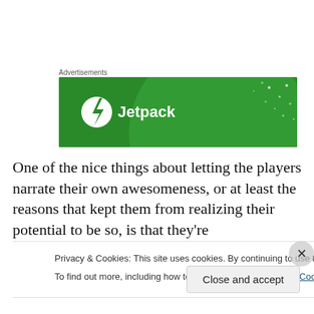Advertisements
[Figure (illustration): Jetpack advertisement banner — green background with a white circle containing a lightning bolt icon and the text 'Jetpack']
One of the nice things about letting the players narrate their own awesomeness, or at least the reasons that kept them from realizing their potential to be so, is that they're
Privacy & Cookies: This site uses cookies. By continuing to use this website, you agree to their use.
To find out more, including how to control cookies, see here: Cookie Policy
Close and accept